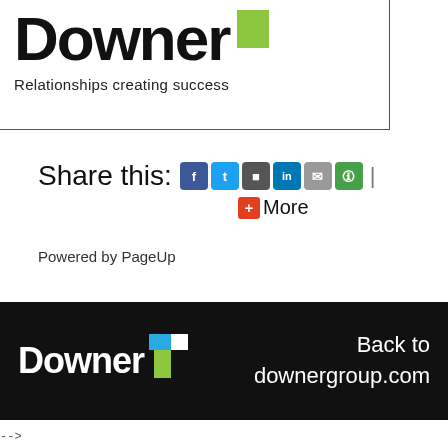[Figure (logo): Downer logo with green square block and tagline 'Relationships creating success']
Share this: [social icons: Facebook, Twitter, Google+, LinkedIn, Email, Reddit] | +More
Powered by PageUp
[Figure (logo): Downer footer logo on black background with blue/white/green T mark and 'Back to downergroup.com' text]
-->